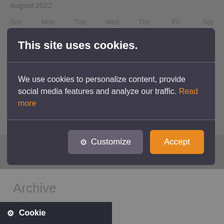[Figure (screenshot): Calendar background showing August 2022 with days Sun through Sat and dates 1-6 visible in first row, partially visible second row]
This site uses cookies.
We use cookies to personalize content, provide social media features and analyze our traffic. Read more
Customize  Accept
Archive
Cookie